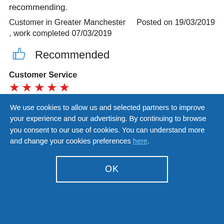recommending.
Customer in Greater Manchester    Posted on 19/03/2019 , work completed 07/03/2019
Recommended
Customer Service
[Figure (illustration): Five red stars rating for Customer Service]
Quality
We use cookies to allow us and selected partners to improve your experience and our advertising. By continuing to browse you consent to our use of cookies. You can understand more and change your cookies preferences here.
OK